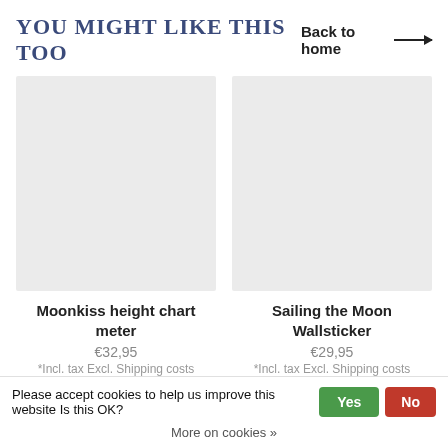You might like this too
Back to home →
[Figure (photo): Product image placeholder for Moonkiss height chart meter]
Moonkiss height chart meter
€32,95
*Incl. tax Excl. Shipping costs
[Figure (photo): Product image placeholder for Sailing the Moon Wallsticker]
Sailing the Moon Wallsticker
€29,95
*Incl. tax Excl. Shipping costs
Please accept cookies to help us improve this website Is this OK?   Yes   No
More on cookies »